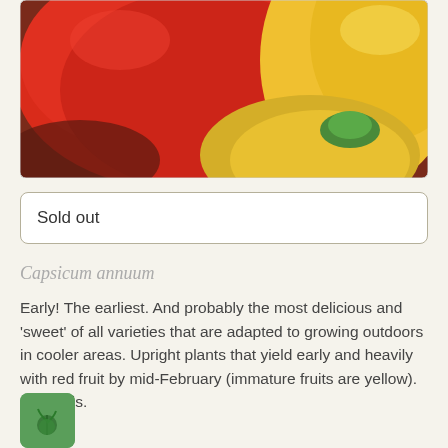[Figure (photo): Close-up photo of red and yellow bell peppers]
Sold out
Capsicum annuum
Early! The earliest. And probably the most delicious and 'sweet' of all varieties that are adapted to growing outdoors in cooler areas. Upright plants that yield early and heavily with red fruit by mid-February (immature fruits are yellow). 10 seeds.
[Figure (logo): Green rounded square icon with plant/seed symbol]